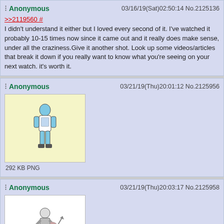Anonymous  03/16/19(Sat)02:50:14 No.2125136
>>2119560 #
I didn't understand it either but I loved every second of it. I've watched it probably 10-15 times now since it came out and it really does make sense, under all the craziness.Give it another shot. Look up some videos/articles that break it down if you really want to know what you're seeing on your next watch. it's worth it.
Anonymous  03/21/19(Thu)20:01:12 No.2125956
[Figure (illustration): Small cartoon figure of what appears to be Buzz Lightyear from Toy Story on a light yellow background. File info: 292 KB PNG]
Anonymous  03/21/19(Thu)20:03:17 No.2125958
[Figure (illustration): Small cartoon figure of what appears to be a character in action pose on a white background. File info: 395 KB PNG]
>>2174228 #